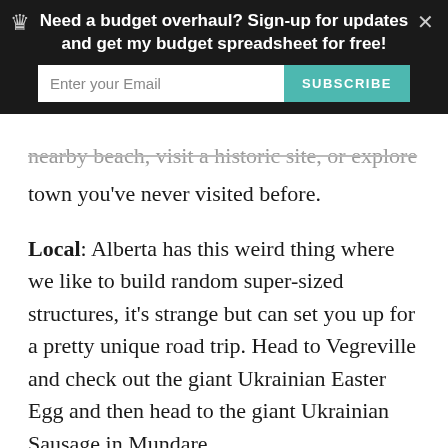[Figure (screenshot): Newsletter signup banner overlay with dark background, crown icon, close button, email input field, and subscribe button in teal. Text reads: 'Need a budget overhaul? Sign-up for updates and get my budget spreadsheet for free!']
nearby beach, visit a historic site, or explore a small town you've never visited before.
Local: Alberta has this weird thing where we like to build random super-sized structures, it's strange but can set you up for a pretty unique road trip. Head to Vegreville and check out the giant Ukrainian Easter Egg and then head to the giant Ukrainian Sausage in Mundare.
12. BOARD GAME CAFE
Board game cafes have been popping up all over the